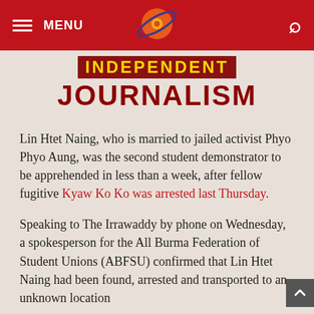MENU [logo] [search]
INDEPENDENT JOURNALISM
Lin Htet Naing, who is married to jailed activist Phyo Phyo Aung, was the second student demonstrator to be apprehended in less than a week, after fellow fugitive Kyaw Ko Ko was arrested last Thursday.
Speaking to The Irrawaddy by phone on Wednesday, a spokesperson for the All Burma Federation of Student Unions (ABFSU) confirmed that Lin Htet Naing had been found, arrested and transported to an unknown location